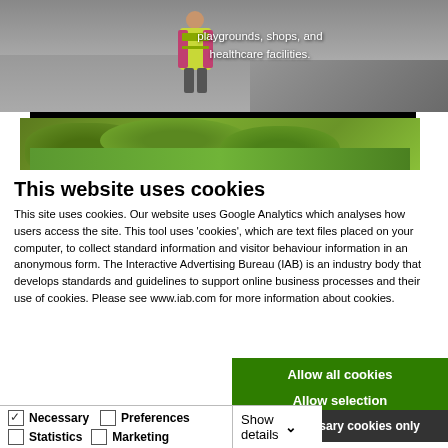[Figure (photo): Top portion of a webpage screenshot showing a video frame of a person in a yellow hi-vis vest with text overlay reading 'playgrounds, shops, and healthcare facilities.' and below it a black bar and an aerial photo of green trees and fields.]
This website uses cookies
This site uses cookies. Our website uses Google Analytics which analyses how users access the site. This tool uses 'cookies', which are text files placed on your computer, to collect standard information and visitor behaviour information in an anonymous form. The Interactive Advertising Bureau (IAB) is an industry body that develops standards and guidelines to support online business processes and their use of cookies. Please see www.iab.com for more information about cookies.
Allow all cookies
Allow selection
Use necessary cookies only
Necessary   Preferences   Statistics   Marketing   Show details